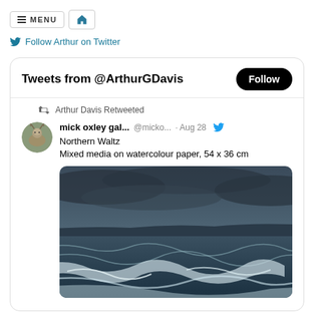MENU | Home
Follow Arthur on Twitter
Tweets from @ArthurGDavis
Arthur Davis Retweeted
mick oxley gal... @micko... · Aug 28
Northern Waltz
Mixed media on watercolour paper, 54 x 36 cm
[Figure (photo): Painting of stormy ocean waves with dark blue-grey sky and white foam, titled 'Northern Waltz', mixed media on watercolour paper, 54 x 36 cm]